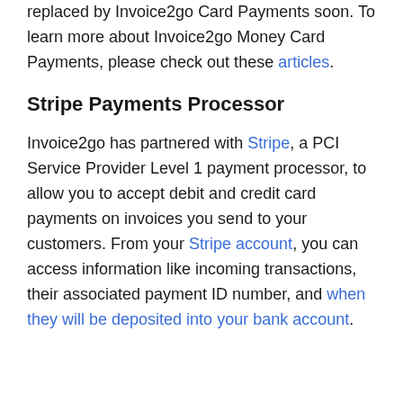replaced by Invoice2go Card Payments soon. To learn more about Invoice2go Money Card Payments, please check out these articles.
Stripe Payments Processor
Invoice2go has partnered with Stripe, a PCI Service Provider Level 1 payment processor, to allow you to accept debit and credit card payments on invoices you send to your customers. From your Stripe account, you can access information like incoming transactions, their associated payment ID number, and when they will be deposited into your bank account.